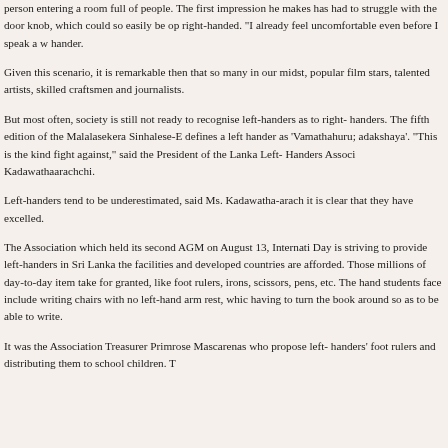person entering a room full of people. The first impression he makes has had to struggle with the door knob, which could so easily be operated right-handed. "I already feel uncomfortable even before I speak a word," hander.
Given this scenario, it is remarkable then that so many in our midst, popular film stars, talented artists, skilled craftsmen and journalists.
But most often, society is still not ready to recognise left-handers as to right- handers. The fifth edition of the Malalasekera Sinhalese-En defines a left hander as 'Vamathahuru; adakshaya'. "This is the kind fight against," said the President of the Lanka Left- Handers Associ Kadawathaarachchi.
Left-handers tend to be underestimated, said Ms. Kadawatha-arach it is clear that they have excelled.
The Association which held its second AGM on August 13, Internati Day is striving to provide left-handers in Sri Lanka the facilities and developed countries are afforded. Those millions of day-to-day items take for granted, like foot rulers, irons, scissors, pens, etc. The hand students face include writing chairs with no left-hand arm rest, which having to turn the book around so as to be able to write.
It was the Association Treasurer Primrose Mascarenas who proposed left- handers' foot rulers and distributing them to school children. T